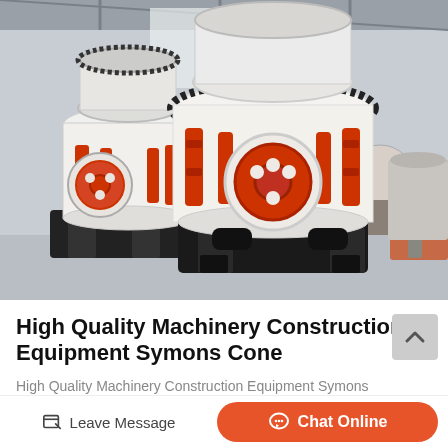[Figure (photo): Industrial factory floor showing large white Symons cone crusher machines with red hydraulic cylinders and drive wheels. Multiple units visible in a large warehouse/factory setting.]
High Quality Machinery Construction Equipment Symons Cone
High Quality Machinery Construction Equipment Symons